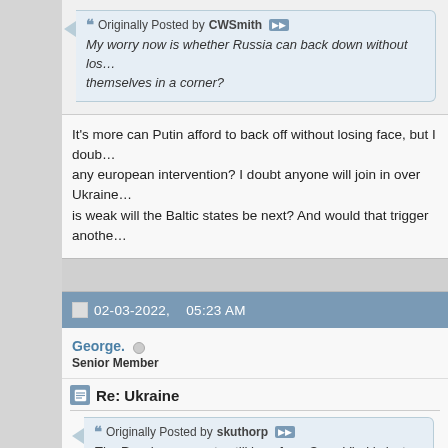Originally Posted by CWSmith
My worry now is whether Russia can back down without losing face - have they painted themselves in a corner?
It's more can Putin afford to back off without losing face, but I doubt there will be any european intervention? I doubt anyone will join in over Ukraine. But if the west is weak will the Baltic states be next? And would that trigger anothe…
02-03-2022,    05:23 AM
George.
Senior Member
Re: Ukraine
Originally Posted by skuthorp
The Russians eeem to still long for a Czar. Vlad is just the la… imperial dream. The myth of a strong man seems built into t…
Th…